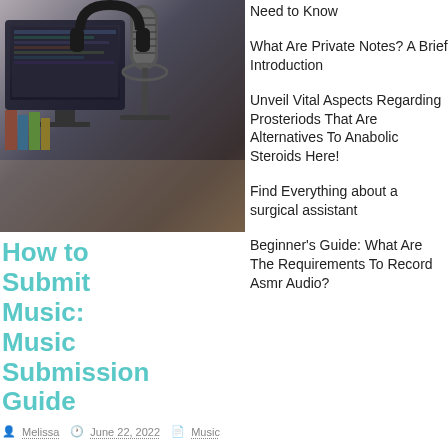[Figure (photo): Studio photo with microphone, headphones, and computer monitor in background]
How to Submit Music: Music Submission Guide
Melissa  June 22, 2022  Music
You intend to send your demos to your preferred major labels, then. However, perhaps you've tried a couple texts or DMs without success. You feel depressed because
Need to Know
What Are Private Notes? A Brief Introduction
Unveil Vital Aspects Regarding Prosteriods That Are Alternatives To Anabolic Steroids Here!
Find Everything about a surgical assistant
Beginner's Guide: What Are The Requirements To Record Asmr Audio?